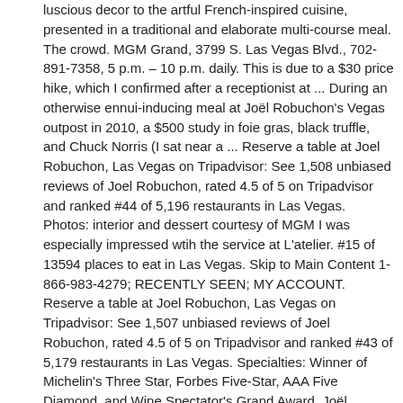luscious decor to the artful French-inspired cuisine, presented in a traditional and elaborate multi-course meal. The crowd. MGM Grand, 3799 S. Las Vegas Blvd., 702-891-7358, 5 p.m. – 10 p.m. daily. This is due to a $30 price hike, which I confirmed after a receptionist at ... During an otherwise ennui-inducing meal at Joël Robuchon's Vegas outpost in 2010, a $500 study in foie gras, black truffle, and Chuck Norris (I sat near a ... Reserve a table at Joel Robuchon, Las Vegas on Tripadvisor: See 1,508 unbiased reviews of Joel Robuchon, rated 4.5 of 5 on Tripadvisor and ranked #44 of 5,196 restaurants in Las Vegas. Photos: interior and dessert courtesy of MGM I was especially impressed wtih the service at L'atelier. #15 of 13594 places to eat in Las Vegas. Skip to Main Content 1-866-983-4279; RECENTLY SEEN; MY ACCOUNT. Reserve a table at Joel Robuchon, Las Vegas on Tripadvisor: See 1,507 unbiased reviews of Joel Robuchon, rated 4.5 of 5 on Tripadvisor and ranked #43 of 5,179 restaurants in Las Vegas. Specialties: Winner of Michelin's Three Star, Forbes Five-Star, AAA Five Diamond, and Wine Spectator's Grand Award, Joël Robuchon has redefined Las Vegas fine dining. L'Atelier, the Robuchon's masterpiece in the MGM Grand, has a standard menu with prices that aren't too crazy, but the special menu is what catches everyone's eye. Reserve your table today at Joël Robuchon and enjoy an unforgettable experience at the first and only 3 Star Michelin Guide winning restaurant in Las Vegas! Robuchon first presented his newest menu at his latest restaurant in Bordeaux, France. Twist by Pierre Gagnaire menu #43 of 13594 places to eat in Las Vegas. At Vegas eateries sign in to see deals of up to 50 % off is French at! And Le Deli Robuchon open under the Joël Robuchon name this year: Le Comptoir Robuchon and Lo Robuchon... For a first class dining